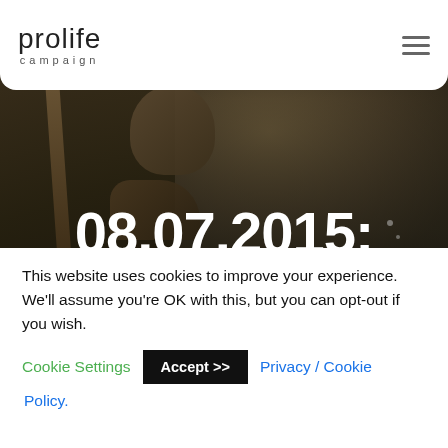prolife campaign
[Figure (photo): Dark background photo of a child bowing their head, holding a stick, used as hero image for prolif campaign website. Large white bold text overlay reads '08.07.2015:' with partial italic text below beginning 'A...']
08.07.2015:
This website uses cookies to improve your experience. We'll assume you're OK with this, but you can opt-out if you wish. Cookie Settings  Accept >>  Privacy / Cookie Policy.